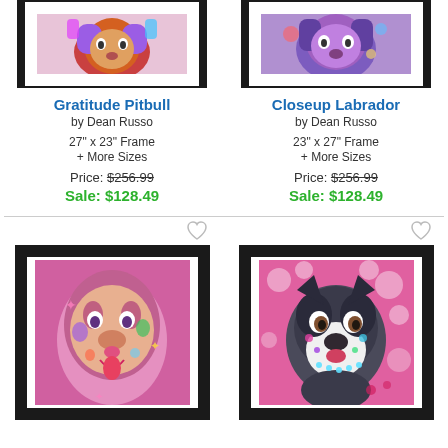[Figure (photo): Framed colorful pop-art painting of a Pitbull dog, top portion visible]
[Figure (photo): Framed colorful pop-art painting of a Labrador dog, top portion visible]
Gratitude Pitbull
by Dean Russo
27" x 23" Frame
+ More Sizes
Price: $256.99
Sale: $128.49
Closeup Labrador
by Dean Russo
23" x 27" Frame
+ More Sizes
Price: $256.99
Sale: $128.49
[Figure (photo): Framed colorful pop-art painting of a smiling Pitbull with pink background]
[Figure (photo): Framed colorful pop-art painting of a Boston Terrier with pink bubble background]